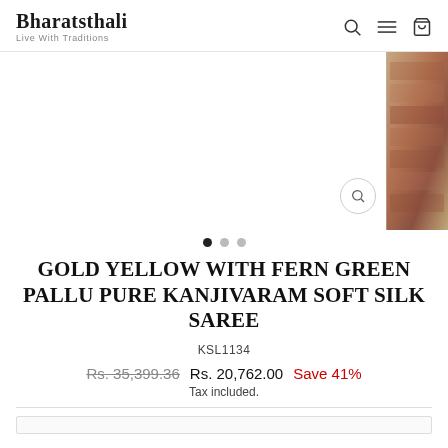Bharatsthali / Live With Traditions
[Figure (photo): Product image area showing a saree with a thumbnail strip on the right showing a brick/fabric texture background. Zoom icon visible at bottom right of main image area.]
GOLD YELLOW WITH FERN GREEN PALLU PURE KANJIVARAM SOFT SILK SAREE
KSL1134
Rs. 35,399.36  Rs. 20,762.00  Save 41%
Tax included.